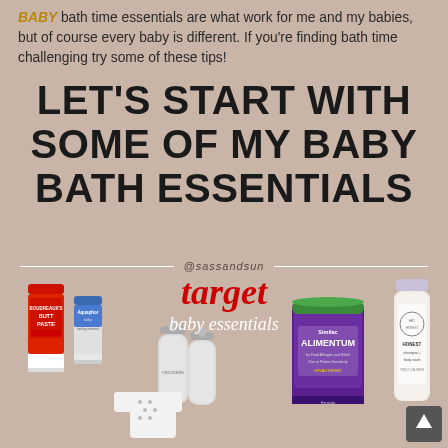bath time essentials are what work for me and my babies, but of course every baby is different. If you're finding bath time challenging try some of these tips!
LET'S START WITH SOME OF MY BABY BATH ESSENTIALS
@sassandsun
[Figure (photo): Target baby essentials product collage showing: Boudreaux's Butt Paste tube, Aquaphor Baby tube, two gray baby bottles, Similac Alimentum formula can, teal silicone teething/bath items, a onesie, and Honest shampoo & body wash bottle. Overlaid with Target logo and 'baby essentials' text in script.]